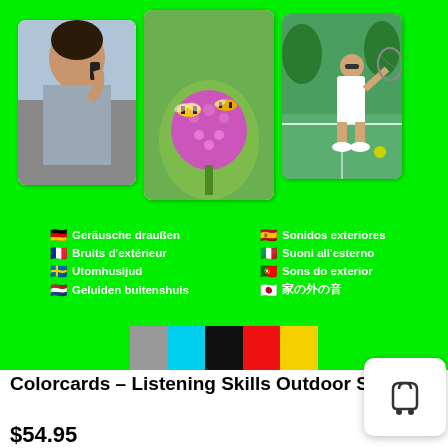[Figure (photo): Green background product card showing three photos: woman on phone, bee on purple flower, tennis player. Below photos are language labels in 8 languages with flags. A color bar (gray, cyan, black, red, yellow) is shown at bottom of green section.]
Colorcards – Listening Skills Outdoor Sounds
$54.95